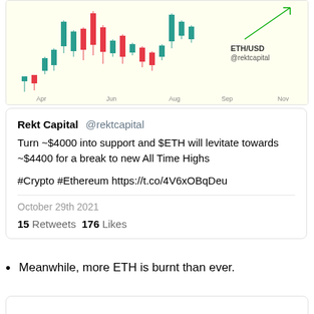[Figure (other): ETH/USD candlestick chart showing price action from April to November, with teal and red candles. Labeled 'ETH/USD @rektcapital'. X-axis shows Apr, Jun, Aug, Sep, Nov.]
Rekt Capital @rektcapital
Turn ~$4000 into support and $ETH will levitate towards ~$4400 for a break to new All Time Highs

#Crypto #Ethereum https://t.co/4V6xOBqDeu

October 29th 2021

15 Retweets  176 Likes
Meanwhile, more ETH is burnt than ever.